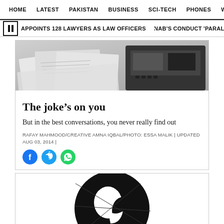HOME  LATEST  PAKISTAN  BUSINESS  SCI-TECH  PHONES  W
APPOINTS 128 LAWYERS AS LAW OFFICERS  •  NAB'S CONDUCT 'PARALYSED' GOVT N
[Figure (photo): Black and white photo of papers and a calculator or typewriter on a desk]
The joke's on you
But in the best conversations, you never really find out
RAFAY MAHMOOD/CREATIVE AMNA IQBAL/PHOTO: ESSA MALIK | UPDATED AUG 03, 2014 |
[Figure (illustration): Black and white graphic illustration of a bomb or circular figure with silhouette design]